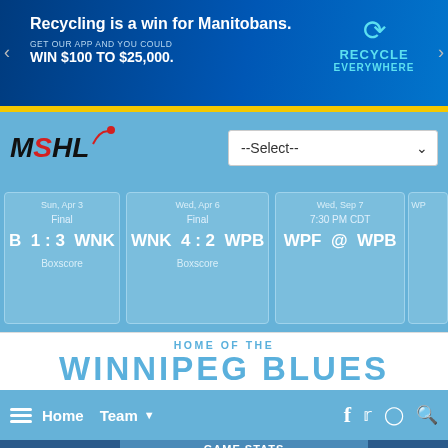[Figure (screenshot): Advertisement banner: 'Recycling is a win for Manitobans. GET OUR APP AND YOU COULD WIN $100 TO $25,000. RECYCLE EVERYWHERE']
[Figure (logo): MSHL logo with dropdown --Select-- selector]
Sun, Apr 3 | Final | B 1:3 WNK | Boxscore
Wed, Apr 6 | Final | WNK 4:2 WPB | Boxscore
Wed, Sep 7 | 7:30 PM CDT | WPF @ WPB
HOME OF THE WINNIPEG BLUES
Home  Team ▾   f  🐦  📷  🔍
[Figure (screenshot): Game Stats panel showing September 10 game between two teams with Steinbach logo visible]